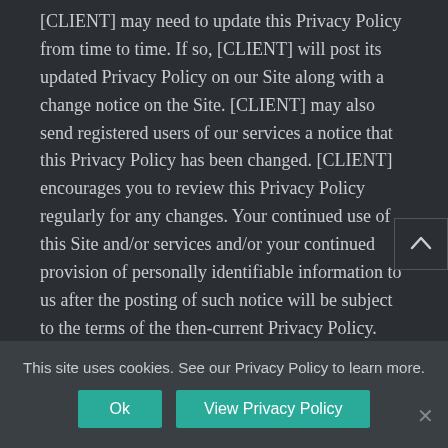[CLIENT] may need to update this Privacy Policy from time to time. If so, [CLIENT] will post its updated Privacy Policy on our Site along with a change notice on the Site. [CLIENT] may also send registered users of our services a notice that this Privacy Policy has been changed. [CLIENT] encourages you to review this Privacy Policy regularly for any changes. Your continued use of this Site and/or services and/or your continued provision of personally identifiable information to us after the posting of such notice will be subject to the terms of the then-current Privacy Policy.
Information Collection
This site uses cookies. See our Privacy Policy to learn more.